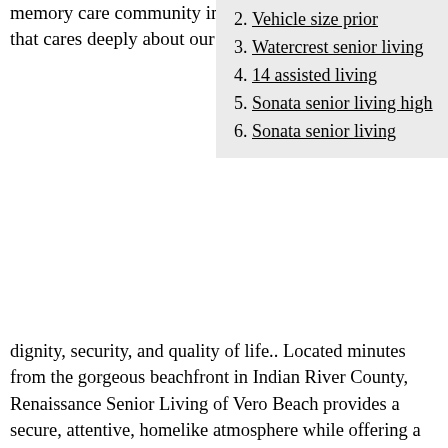memory care community in Vero Beach, FL, that cares deeply about our residents' dignity, security, and quality of life.. Located minutes from the gorgeous beachfront in Indian River County, Renaissance Senior Living of Vero Beach provides a secure, attentive, homelike atmosphere while offering a full range of helpful services ...
2. Vehicle size prior
3. Watercrest senior living
4. 14 assisted living
5. Sonata senior living high
6. Sonata senior living
East Pointe Nursing Home It is a large facility with 195 beds and has for-profit, partnership ownership. eastpointe Rehabilitation Center is not a part of a continuing care retirement community. It participates in Medicare ... A nursing home is a long-term care facility that